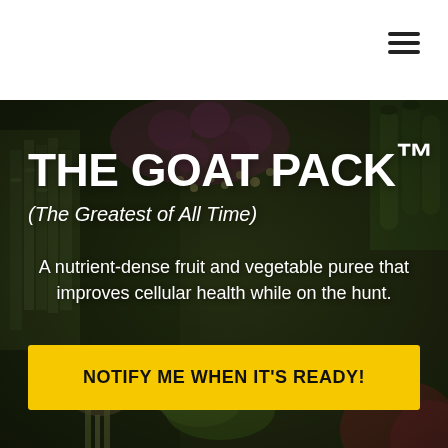[Figure (photo): Background photo of various fresh vegetables and herbs including rosemary, onions, cucumbers, mushrooms, bitter melon, and other produce arranged together with dark, moody color grading]
THE GOAT PACK™
(The Greatest of All Time)
A nutrient-dense fruit and vegetable puree that improves cellular health while on the hunt.
NOTIFY ME WHEN IT'S READY!